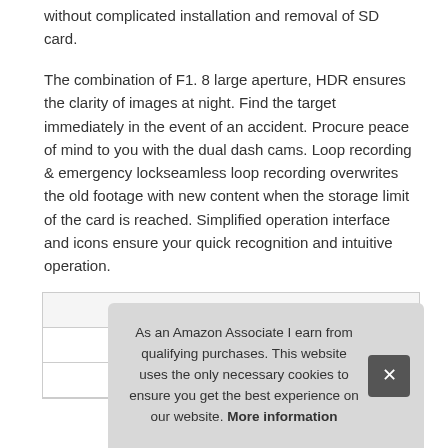without complicated installation and removal of SD card.
The combination of F1. 8 large aperture, HDR ensures the clarity of images at night. Find the target immediately in the event of an accident. Procure peace of mind to you with the dual dash cams. Loop recording & emergency lockseamless loop recording overwrites the old footage with new content when the storage limit of the card is reached. Simplified operation interface and icons ensure your quick recognition and intuitive operation.
| Brand | Claoner |
| Ma |  |
| P |  |
As an Amazon Associate I earn from qualifying purchases. This website uses the only necessary cookies to ensure you get the best experience on our website. More information